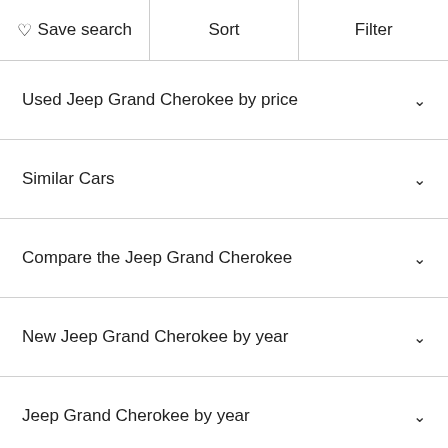Save search | Sort | Filter
Used Jeep Grand Cherokee by price
Similar Cars
Compare the Jeep Grand Cherokee
New Jeep Grand Cherokee by year
Jeep Grand Cherokee by year
Used Jeep Grand Cherokee by city
Certified Pre-Owned Jeep Grand Cherokee by year